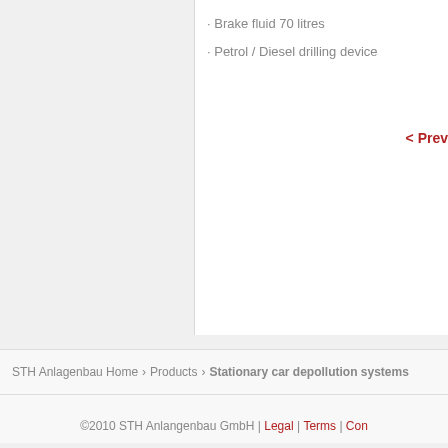· Brake fluid 70 litres
· Petrol / Diesel drilling device
< Prev
STH Anlagenbau Home › Products › Stationary car depollution systems
©2010 STH Anlangenbau GmbH | Legal | Terms | Con...